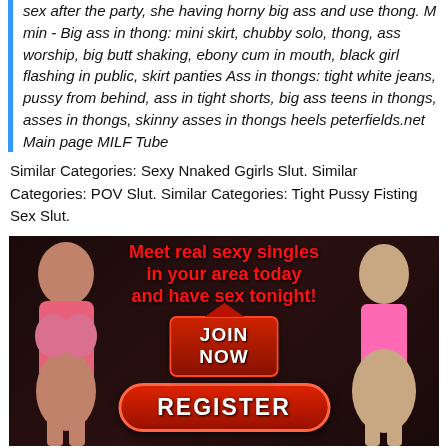sex after the party, she having horny big ass and use thong. M min - Big ass in thong: mini skirt, chubby solo, thong, ass worship, big butt shaking, ebony cum in mouth, black girl flashing in public, skirt panties Ass in thongs: tight white jeans, pussy from behind, ass in tight shorts, big ass teens in thongs, asses in thongs, skinny asses in thongs heels peterfields.net Main page MILF Tube
Similar Categories: Sexy Nnaked Ggirls Slut. Similar Categories: POV Slut. Similar Categories: Tight Pussy Fisting Sex Slut.
[Figure (advertisement): Adult dating site advertisement with two women and text 'Meet real sexy singles in your area today and have sex tonight!' with JOIN NOW and REGISTER buttons]